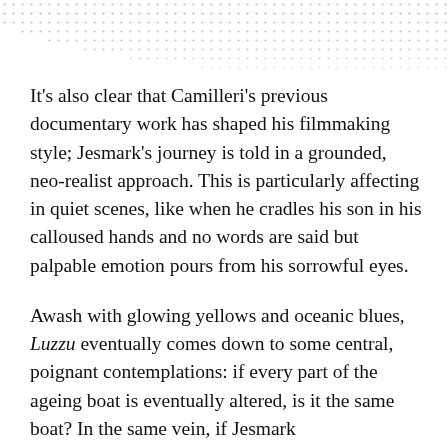[Figure (other): Dotted/stippled decorative pattern in upper portion of page, triangular arrangement of dots fading from dense at top-right to sparse at bottom-left]
It's also clear that Camilleri's previous documentary work has shaped his filmmaking style; Jesmark's journey is told in a grounded, neo-realist approach. This is particularly affecting in quiet scenes, like when he cradles his son in his calloused hands and no words are said but palpable emotion pours from his sorrowful eyes.
Awash with glowing yellows and oceanic blues, Luzzu eventually comes down to some central, poignant contemplations: if every part of the ageing boat is eventually altered, is it the same boat? In the same vein, if Jesmark